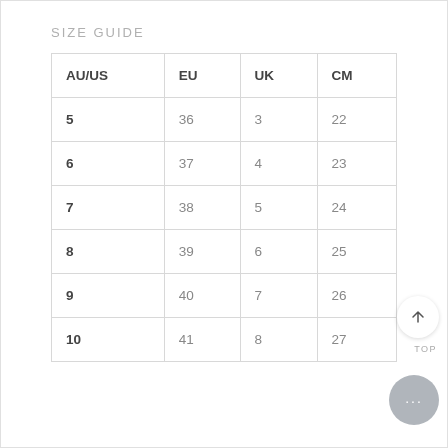SIZE GUIDE
| AU/US | EU | UK | CM |
| --- | --- | --- | --- |
| 5 | 36 | 3 | 22 |
| 6 | 37 | 4 | 23 |
| 7 | 38 | 5 | 24 |
| 8 | 39 | 6 | 25 |
| 9 | 40 | 7 | 26 |
| 10 | 41 | 8 | 27 |